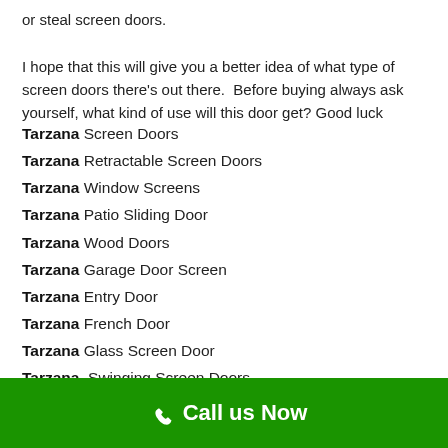or steal screen doors.

I hope that this will give you a better idea of what type of screen doors there's out there.  Before buying always ask yourself, what kind of use will this door get? Good luck
Tarzana Screen Doors
Tarzana Retractable Screen Doors
Tarzana Window Screens
Tarzana Patio Sliding Door
Tarzana Wood Doors
Tarzana Garage Door Screen
Tarzana Entry Door
Tarzana French Door
Tarzana Glass Screen Door
Tarzana Swinging Screen Doors
Call us Now